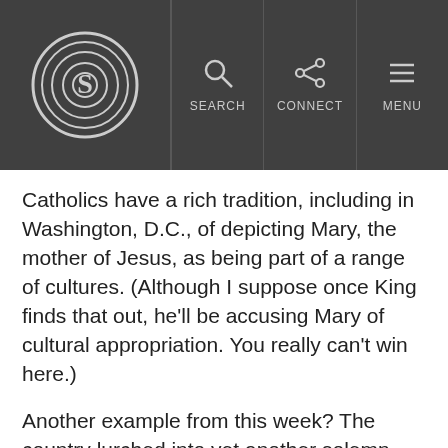S | SEARCH | CONNECT | MENU
Catholics have a rich tradition, including in Washington, D.C., of depicting Mary, the mother of Jesus, as being part of a range of cultures. (Although I suppose once King finds that out, he'll be accusing Mary of cultural appropriation. You really can't win here.)
Another example from this week? The country lurched into yet another solemn discussion of race relations, this one triggered by the discovery of a rope tied like a noose in NASCAR driver Bubba Wallace's garage at Talladega Superspeedway in Alabama.
Yet when the authorities investigated, it emerged that ...